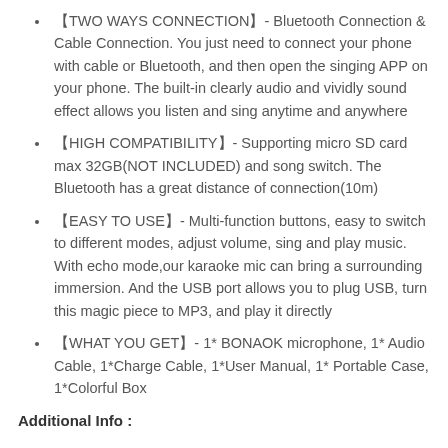【TWO WAYS CONNECTION】- Bluetooth Connection & Cable Connection. You just need to connect your phone with cable or Bluetooth, and then open the singing APP on your phone. The built-in clearly audio and vividly sound effect allows you listen and sing anytime and anywhere
【HIGH COMPATIBILITY】- Supporting micro SD card max 32GB(NOT INCLUDED) and song switch. The Bluetooth has a great distance of connection(10m)
【EASY TO USE】- Multi-function buttons, easy to switch to different modes, adjust volume, sing and play music. With echo mode,our karaoke mic can bring a surrounding immersion. And the USB port allows you to plug USB, turn this magic piece to MP3, and play it directly
【WHAT YOU GET】- 1* BONAOK microphone, 1* Audio Cable, 1*Charge Cable, 1*User Manual, 1* Portable Case, 1*Colorful Box
Additional Info :